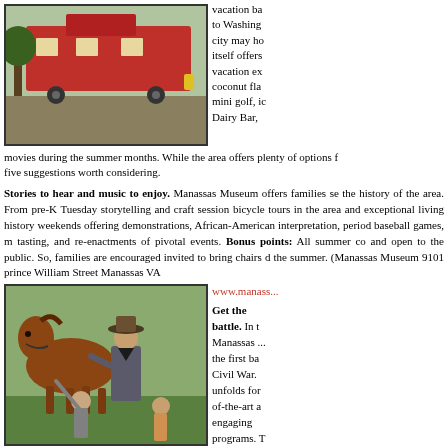[Figure (photo): Red caboose/train car parked outdoors near trees and a paved area]
vacation ba... to Washington... city may ho... itself offers ... vacation ex... coconut fla... mini golf, ic... Dairy Bar, movies during the summer months. While the area offers plenty of options f... five suggestions worth considering.
(full width continuation) movies during the summer months. While the area offers plenty of options five suggestions worth considering.
Stories to hear and music to enjoy. Manassas Museum offers families se... the history of the area. From pre-K Tuesday storytelling and craft sessions bicycle tours in the area and exceptional living history weekends offering demonstrations, African-American interpretation, period baseball games, m... tasting, and re-enactments of pivotal events. Bonus points: All summer co... and open to the public. So, families are encouraged invited to bring chairs d... the summer. (Manassas Museum 9101 prince William Street Manassas VA
www.manass...
[Figure (photo): A man in Civil War era costume with a wide-brimmed hat stands next to a brown horse, with children reaching up to pet the horse, outdoors on green grass]
Get the battle. In t... Manassas ... the first ba... Civil War. unfolds for of-the-art a... engaging programs. T... a six-minut...